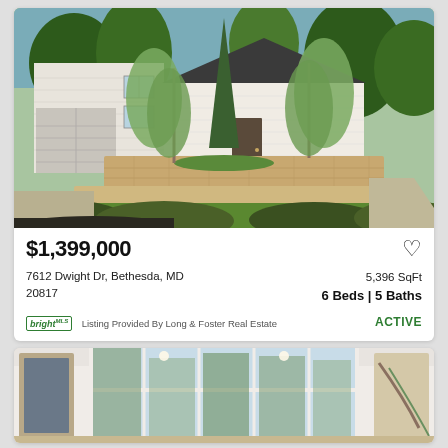[Figure (photo): Exterior photo of a large two-story white house with terraced stone landscaping, ornamental weeping blue atlas cedar trees, and lush bushes in the foreground. A two-car garage is visible on the left.]
$1,399,000
7612 Dwight Dr, Bethesda, MD 20817
5,396 SqFt
6 Beds | 5 Baths
bright  Listing Provided By Long & Foster Real Estate
ACTIVE
[Figure (photo): Interior photo of a bright sunroom or conservatory with large windows and glass panels showing greenery outside, with artwork visible on the walls.]